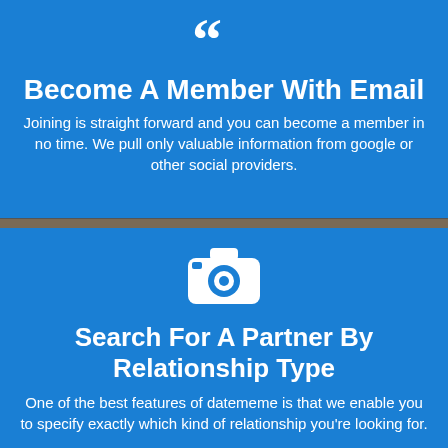[Figure (illustration): Large white quotation mark (open double quote) icon on blue background]
Become A Member With Email
Joining is straight forward and you can become a member in no time. We pull only valuable information from google or other social providers.
[Figure (illustration): White camera icon on blue background]
Search For A Partner By Relationship Type
One of the best features of datememe is that we enable you to specify exactly which kind of relationship you're looking for.